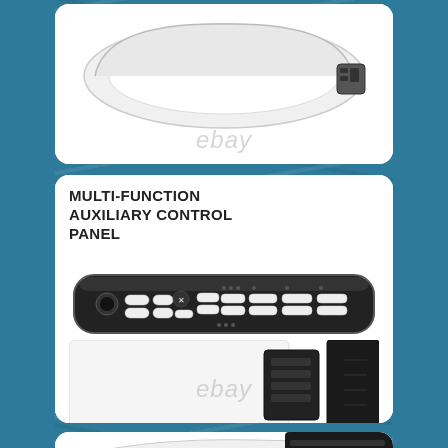[Figure (photo): Top card showing a white elongated bidet toilet seat from above, with ebay watermark overlay]
[Figure (photo): Middle card showing a bidet toilet seat control panel labeled MULTI-FUNCTION AUXILIARY CONTROL PANEL. The panel is black with many white buttons arranged in rows. Below is the white body of the bidet seat unit with a black remote holder. ebay watermark overlay.]
[Figure (photo): Bottom partial card showing the edge of a bidet toilet seat panel in white and black, partially cut off]